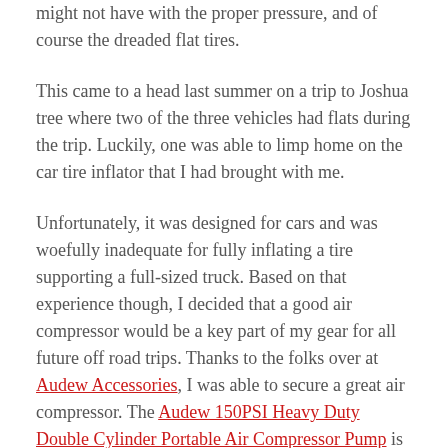might not have with the proper pressure, and of course the dreaded flat tires.
This came to a head last summer on a trip to Joshua tree where two of the three vehicles had flats during the trip. Luckily, one was able to limp home on the car tire inflator that I had brought with me.
Unfortunately, it was designed for cars and was woefully inadequate for fully inflating a tire supporting a full-sized truck. Based on that experience though, I decided that a good air compressor would be a key part of my gear for all future off road trips. Thanks to the folks over at Audew Accessories, I was able to secure a great air compressor. The Audew 150PSI Heavy Duty Double Cylinder Portable Air Compressor Pump is exactly what it sounds like and I love the fact that it can connect to either the cigarette adapter or directly to the battery terminals for full performance. Additionally, not only is it